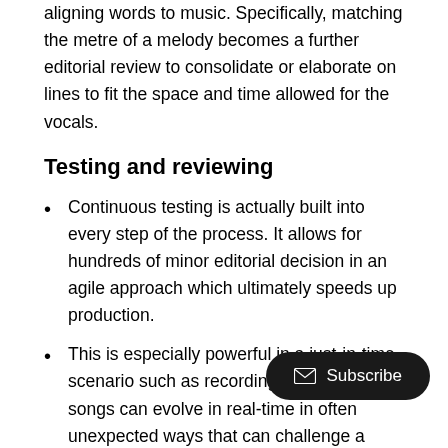aligning words to music. Specifically, matching the metre of a melody becomes a further editorial review to consolidate or elaborate on lines to fit the space and time allowed for the vocals.
Testing and reviewing
Continuous testing is actually built into every step of the process. It allows for hundreds of minor editorial decision in an agile approach which ultimately speeds up production.
This is especially powerful in a just-in-time scenario such as recording sessions where songs can evolve in real-time in often unexpected ways that can challenge a writer/vocalist w... new or alternative lyrics.
Even a small change in your end-to-end system